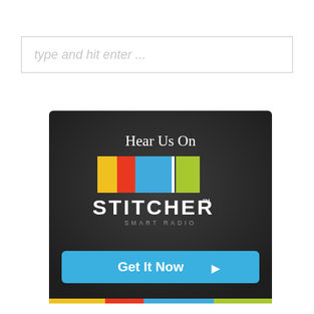type and hit enter ...
[Figure (logo): Stitcher Smart Radio banner advertisement with dark background. Text reads 'Hear Us On', colorful horizontal bars (yellow, orange, blue, white divider, green), STITCHER™ SMART RADIO logo in white, and a blue 'Get It Now ▶' button at the bottom.]